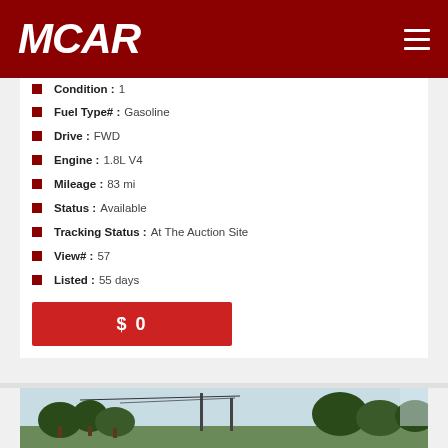MCAR
Condition : 1
Fuel Type# : Gasoline
Drive : FWD
Engine : 1.8L V4
Mileage : 83 mi
Status : Available
Tracking Status : At The Auction Site
View# : 57
Listed : 55 days
$ 0
[Figure (photo): Outdoor photo showing trees and structures, partially visible at bottom of page]